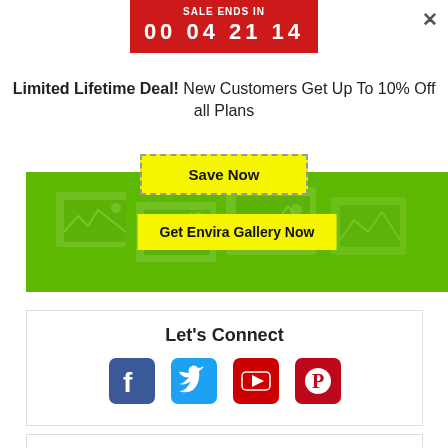[Figure (screenshot): Red countdown banner showing SALE ENDS IN with digits 00 04 21 14]
Limited Lifetime Deal! New Customers Get Up To 10% Off all Plans
[Figure (screenshot): Yellow dashed Save Now button]
[Figure (screenshot): Green banner with Get Envira Gallery Now yellow button and decorative gallery images]
Let's Connect
[Figure (infographic): Social media icons: Facebook (blue), Twitter (blue bird), YouTube (red play), Pinterest (red P)]
[Figure (screenshot): Partial bottom white box with border]